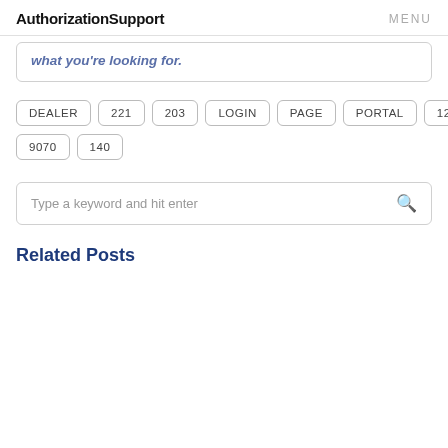AuthorizationSupport  MENU
what you're looking for.
DEALER
221
203
LOGIN
PAGE
PORTAL
123
9070
140
Type a keyword and hit enter
Related Posts